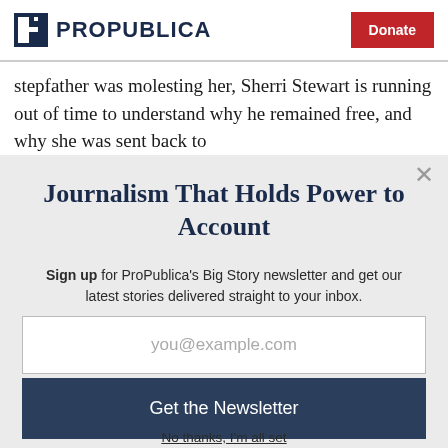ProPublica | Donate
stepfather was molesting her, Sherri Stewart is running out of time to understand why he remained free, and why she was sent back to
Journalism That Holds Power to Account
Sign up for ProPublica's Big Story newsletter and get our latest stories delivered straight to your inbox.
you@example.com
Get the Newsletter
No thanks, I'm all set
This site is protected by reCAPTCHA and the Google Privacy Policy and Terms of Service apply.